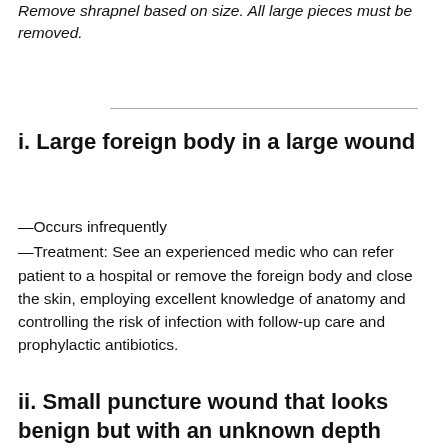Remove shrapnel based on size. All large pieces must be removed.
i. Large foreign body in a large wound
—Occurs infrequently
—Treatment: See an experienced medic who can refer patient to a hospital or remove the foreign body and close the skin, employing excellent knowledge of anatomy and controlling the risk of infection with follow-up care and prophylactic antibiotics.
ii. Small puncture wound that looks benign but with an unknown depth